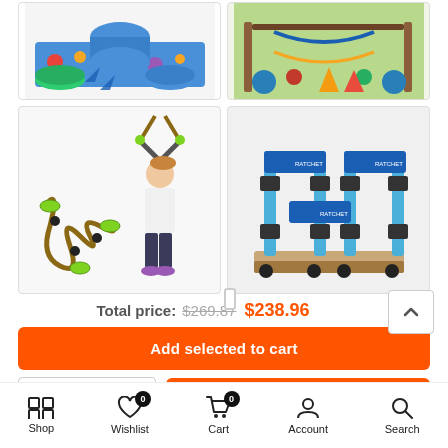[Figure (photo): Grid of 4 product images: top-left shows colorful foam play equipment, top-right shows outdoor fitness/ninja warrior kit, bottom-left shows a rope climbing accessory and child climbing, bottom-right shows a wooden parallettes/gymnastics bar set with blue straps]
Total price: $269.87  $238.96
Add selected to cart
- 1 +   ADD TO CART
Shop   Wishlist (0)   Cart (0)   Account   Search